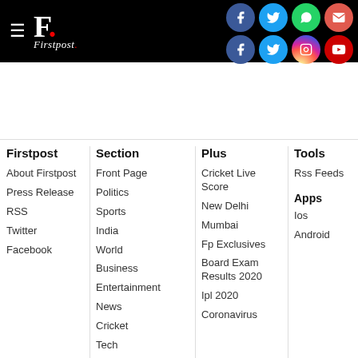Firstpost — Navigation header with social media icons
Firstpost
About Firstpost
Press Release
RSS
Twitter
Facebook
Section
Front Page
Politics
Sports
India
World
Business
Entertainment
News
Cricket
Tech
Health
Photos
Videos
Press Release
Plus
Cricket Live Score
New Delhi
Mumbai
Fp Exclusives
Board Exam Results 2020
Ipl 2020
Coronavirus
Tools
Rss Feeds
Apps
Ios
Android